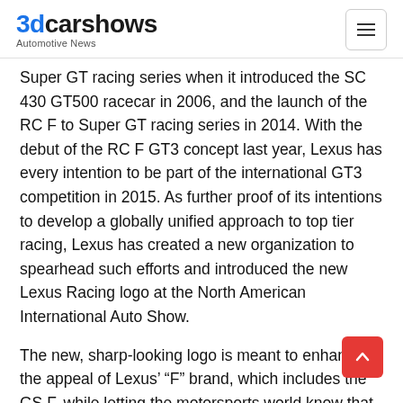3dcarshows Automotive News
Super GT racing series when it introduced the SC 430 GT500 racecar in 2006, and the launch of the RC F to Super GT racing series in 2014. With the debut of the RC F GT3 concept last year, Lexus has every intention to be part of the international GT3 competition in 2015. As further proof of its intentions to develop a globally unified approach to top tier racing, Lexus has created a new organization to spearhead such efforts and introduced the new Lexus Racing logo at the North American International Auto Show.
The new, sharp-looking logo is meant to enhance the appeal of Lexus' “F” brand, which includes the GS F, while letting the motorsports world know that